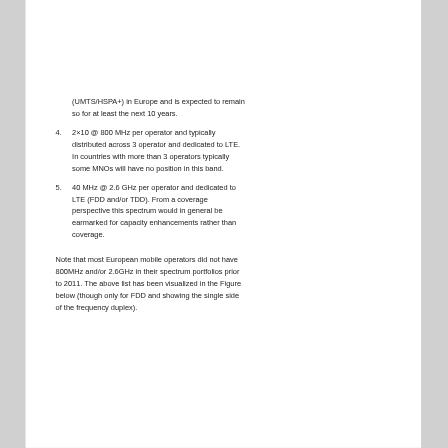(UMTS/HSPA+) in Europe and is expected to remain so for at least the next 10 years.
4. 2×10 @ 800 MHz per operator and typically distributed across 3 operator and dedicated to LTE. In countries with more than 3 operators typically some MNOs will have no position in this band.
5. 40 MHz @ 2.6 GHz per operator and dedicated to LTE (FDD and/or TDD). From a coverage perspective this spectrum would in general be earmarked for capacity enhancements rather than coverage.
Note that most European mobile operators did not have 800MHz and/or 2.6GHz in their spectrum portfolios prior to 2011. The above list has been visualized in the Figure below (though only for FDD and showing the single side of the frequency duplex).